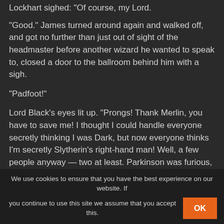Lockhart sighed: "Of course, my Lord."
"Good." James turned around again and walked off, and got no further than just out of sight of the headmaster before another wizard he wanted to speak to, closed a door to the ballroom behind him with a sigh.
"Padfoot!"
Lord Black's eyes lit up. "Prongs! Thank Merlin, you have to save me! I thought I could handle everyone secretly thinking I was Dark, but now everyone thinks I'm secretly Slytherin's right-hand man! Well, a few people anyway — two at least. Parkinson was furious, and I'm glad I'm an auror, because Nott looked like he wanted to curse me right there and then, but—"
"Padfoot! I have to go and—Slytherin!"
We use cookies to ensure that you have the best experience on our website. If you continue to use this site we assume that you accept this.